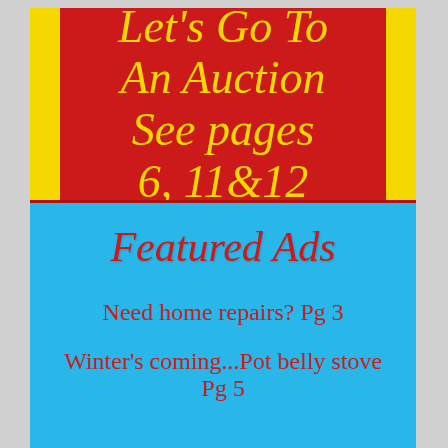Let's Go To An Auction See pages 6, 11&12
Featured Ads
Need home repairs? Pg 3
Winter's coming...Pot belly stove Pg 5